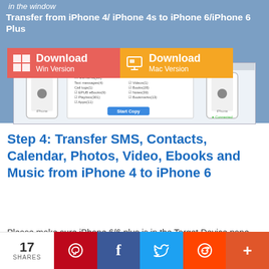in the window
Transfer from iPhone 4/ iPhone 4s to iPhone 6/iPhone 6 Plus
[Figure (screenshot): Download buttons for Win Version and Mac Version, plus a software screenshot showing iPhone-to-iPhone transfer interface with source device, file checklist, Start Copy button, and target device.]
Step 4: Transfer SMS, Contacts, Calendar, Photos, Video, Ebooks and Music from iPhone 4 to iPhone 6
Please make sure iPhone 6/6 plus is in the Target Device pane. (Note: You can switch the device positions by clicking
17 SHARES  [Pinterest] [Facebook] [Twitter] [Reddit] [More]